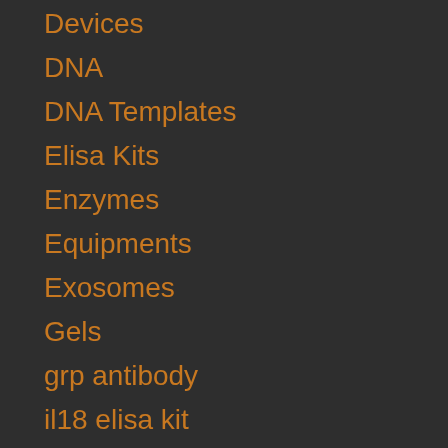Devices
DNA
DNA Templates
Elisa Kits
Enzymes
Equipments
Exosomes
Gels
grp antibody
il18 elisa kit